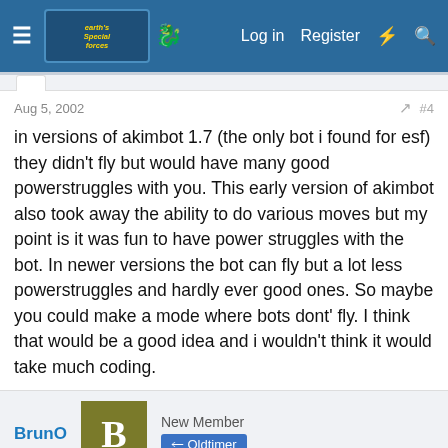Earth's Special Forces forum — Log in   Register
Aug 5, 2002   #4
in versions of akimbot 1.7 (the only bot i found for esf) they didn't fly but would have many good powerstruggles with you. This early version of akimbot also took away the ability to do various moves but my point is it was fun to have power struggles with the bot. In newer versions the bot can fly but a lot less powerstruggles and hardly ever good ones. So maybe you could make a mode where bots dont' fly. I think that would be a good idea and i wouldn't think it would take much coding.
BrunO   New Member   Oldtimer
This site uses cookies to help personalise content, tailor your experience and to keep you logged in if you register.
By continuing to use this site, you are consenting to our use of cookies.